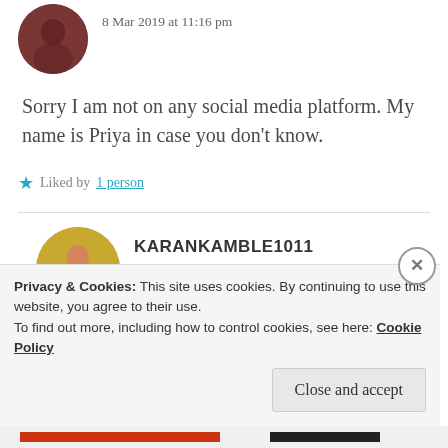8 Mar 2019 at 11:16 pm
Sorry I am not on any social media platform. My name is Priya in case you don't know.
Liked by 1 person
KARANKAMBLE1011
9 Mar 2019 at 7:01 am
Privacy & Cookies: This site uses cookies. By continuing to use this website, you agree to their use. To find out more, including how to control cookies, see here: Cookie Policy
Close and accept